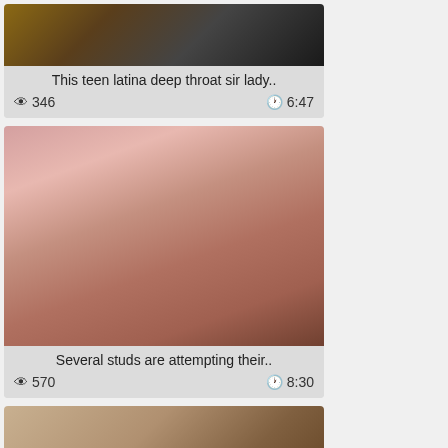[Figure (photo): Video thumbnail showing partial scene]
This teen latina deep throat sir lady..
👁 346   🕐 6:47
[Figure (photo): Video thumbnail showing outdoor scene with person in pink top]
Several studs are attempting their..
👁 570   🕐 8:30
[Figure (photo): Video thumbnail showing indoor scene]